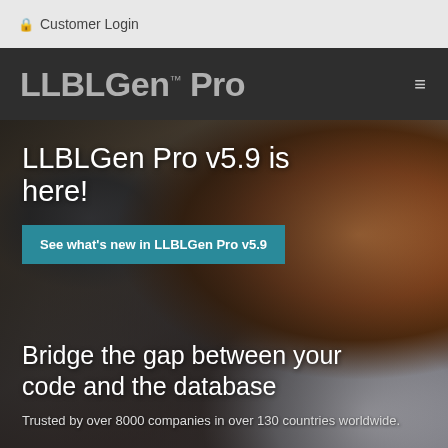Customer Login
LLBLGen™ Pro
[Figure (screenshot): Website hero section with a woman with curly hair working on a laptop in an office setting. Dark overlay on left side with white text overlaid.]
LLBLGen Pro v5.9 is here!
See what's new in LLBLGen Pro v5.9
Bridge the gap between your code and the database
Trusted by over 8000 companies in over 130 countries worldwide.